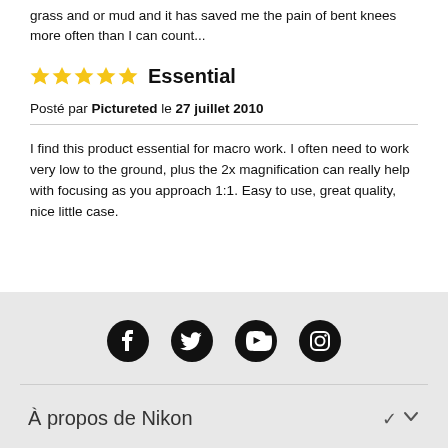grass and or mud and it has saved me the pain of bent knees more often than I can count...
Essential
Posté par Pictureted le 27 juillet 2010
I find this product essential for macro work. I often need to work very low to the ground, plus the 2x magnification can really help with focusing as you approach 1:1. Easy to use, great quality, nice little case.
[Figure (infographic): Social media icons: Facebook, Twitter, YouTube, Instagram in black circles]
À propos de Nikon